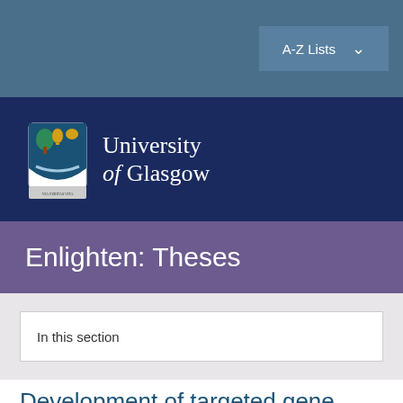A-Z Lists
[Figure (logo): University of Glasgow crest and wordmark logo in white on dark navy background]
Enlighten: Theses
In this section
Development of targeted gene delivery vectors to assess cardiac